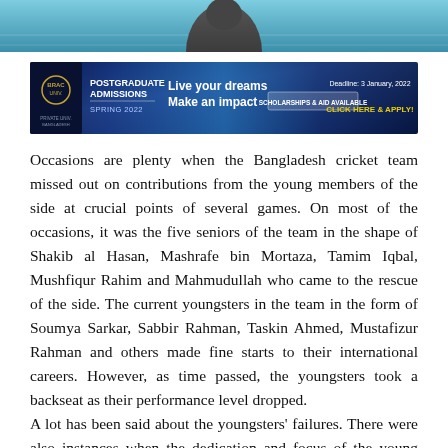[Figure (photo): Top portion of a photo showing a person against a blue/teal background, cropped at top of page]
[Figure (infographic): Advertisement banner for BRAC University Postgraduate Admissions Spring 2022. Text: POSTGRADUATE ADMISSIONS SPRING 2022, Live your dreams Make an impact, SCHOLARSHIPS & AID AVAILABLE, Deadline: 3 January, 2022 CLICK HERE & APPLY!]
Occasions are plenty when the Bangladesh cricket team missed out on contributions from the young members of the side at crucial points of several games. On most of the occasions, it was the five seniors of the team in the shape of Shakib al Hasan, Mashrafe bin Mortaza, Tamim Iqbal, Mushfiqur Rahim and Mahmudullah who came to the rescue of the side. The current youngsters in the team in the form of Soumya Sarkar, Sabbir Rahman, Taskin Ahmed, Mustafizur Rahman and others made fine starts to their international careers. However, as time passed, the youngsters took a backseat as their performance level dropped.
A lot has been said about the youngsters' failures. There were also instances when the dedication and focus of the young members of the team were